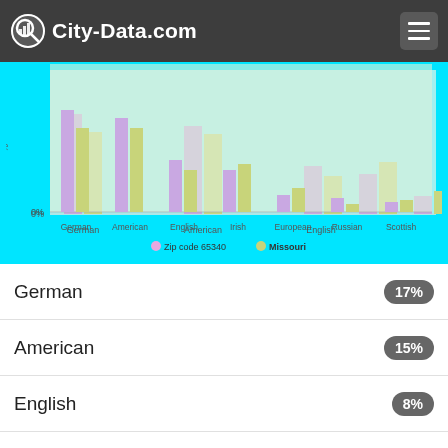City-Data.com
[Figure (grouped-bar-chart): Ancestry]
German 17%
American 15%
English 8%
Irish 4%
European 2%
Russian
Scottish 1%